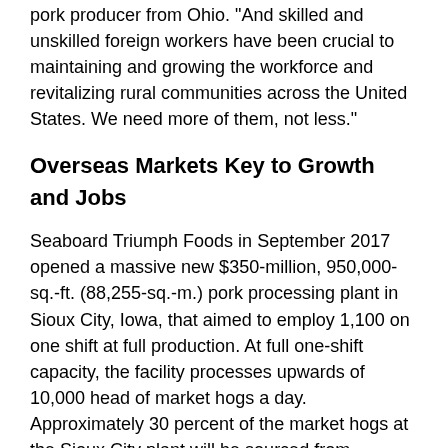pork producer from Ohio. "And skilled and unskilled foreign workers have been crucial to maintaining and growing the workforce and revitalizing rural communities across the United States. We need more of them, not less."
Overseas Markets Key to Growth and Jobs
Seaboard Triumph Foods in September 2017 opened a massive new $350-million, 950,000-sq.-ft. (88,255-sq.-m.) pork processing plant in Sioux City, Iowa, that aimed to employ 1,100 on one shift at full production. At full one-shift capacity, the facility processes upwards of 10,000 head of market hogs a day. Approximately 30 percent of the market hogs at the Sioux City plant will be sourced from regional farmers. The remaining hogs will be supplied by Triumph Foods producer-owners and Seaboard Foods' farms.
In an interview at the plant in March, prior to the Chinese tariffs, Mark Porter, COO for Seaboard Triumph, said there were well over 1,200 employees on staff now, with daily totals averaging between 9,200 and 9,500 head. "We continue to hire and grow… we're now hiring for a second